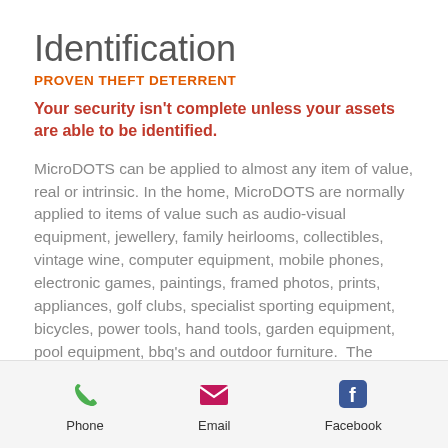Identification
PROVEN THEFT DETERRENT
Your security isn't complete unless your assets are able to be identified.
MicroDOTS can be applied to almost any item of value, real or intrinsic. In the home, MicroDOTS are normally applied to items of value such as audio-visual equipment, jewellery, family heirlooms, collectibles, vintage wine, computer equipment, mobile phones, electronic games, paintings, framed photos, prints, appliances, golf clubs, specialist sporting equipment, bicycles, power tools, hand tools, garden equipment, pool equipment, bbq's and outdoor furniture.  The addition of Warning Labels around the home and Item Stickers
Phone   Email   Facebook